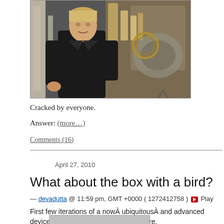[Figure (photo): Man in black jacket standing in front of a large ornate machine with brass and metallic components]
Cracked by everyone.
Answer: (more…)
Comments (16)
April 27, 2010
What about the box with a bird?
— devadutta @ 11:59 pm, GMT +0000 ( 1272412758 ) ▶ Play
First few iterations of a now  ubiquitous  and advanced device. Identify the dev 1, 2 and 3  here.
[Figure (photo): Bottom partial image, gray background]